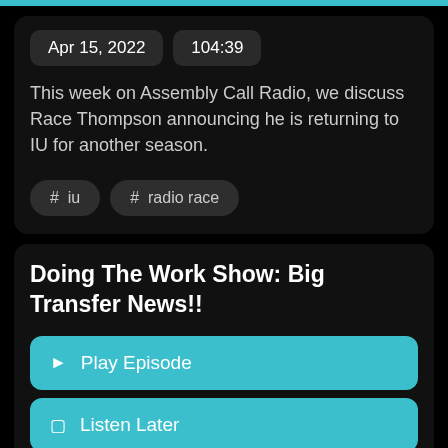Apr 15, 2022   104:39
This week on Assembly Call Radio, we discuss Race Thompson announcing he is returning to IU for another season.
# iu   # radio race
Doing The Work Show: Big Transfer News!!
▶ Play Episode
☐ Listen Later
Apr 13, 2022   64:33